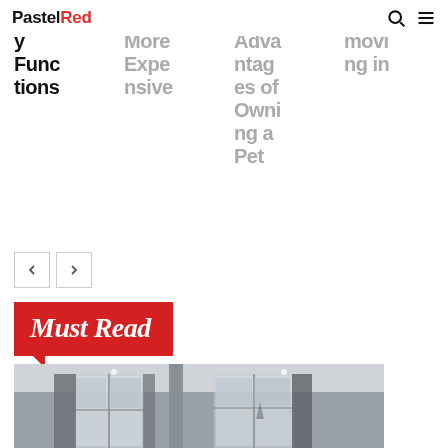PastelRed
Family Functions
Is Organic More Expensive
Advantages of Owning a Pet
Before Moving in
Must Read
[Figure (photo): Interior room photo showing ceiling, large windows with curtains and a city view in overcast light]